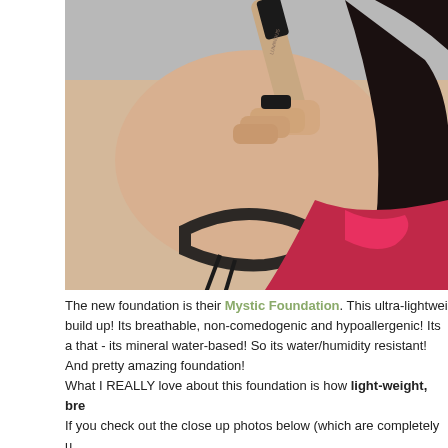[Figure (photo): A woman holding up a foundation bottle (Luminous/Mystic Foundation) with her hand, wearing a black braided bracelet with gold beads. She has long black hair and is wearing a red and pink outfit. The photo is taken close up showing her hand and face partially.]
The new foundation is their Mystic Foundation. This ultra-lightweight build up! Its breathable, non-comedogenic and hypoallergenic! Its a that - its mineral water-based! So its water/humidity resistant! And pretty amazing foundation!
What I REALLY love about this foundation is how light-weight, bre If you check out the close up photos below (which are completely u